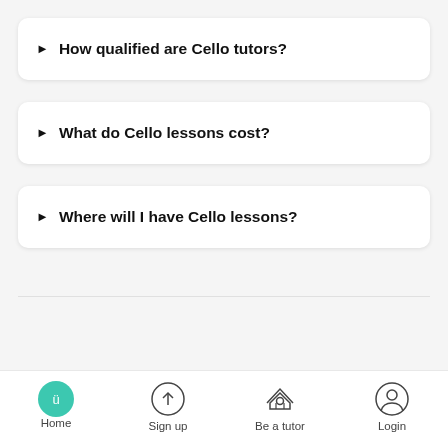► How qualified are Cello tutors?
► What do Cello lessons cost?
► Where will I have Cello lessons?
Home  Sign up  Be a tutor  Login